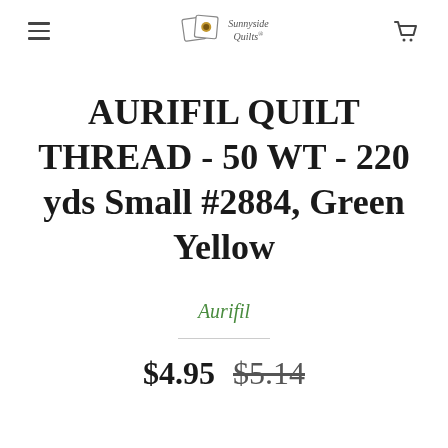Sunnyside Quilts
AURIFIL QUILT THREAD - 50 WT - 220 yds Small #2884, Green Yellow
Aurifil
$4.95 $5.14